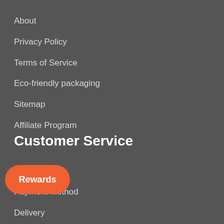About
Privacy Policy
Terms of Service
Eco-friendly packaging
Sitemap
Affiliate Program
Customer Service
Contact
Payment Method
Delivery
Return & Refund Policy
Rewards